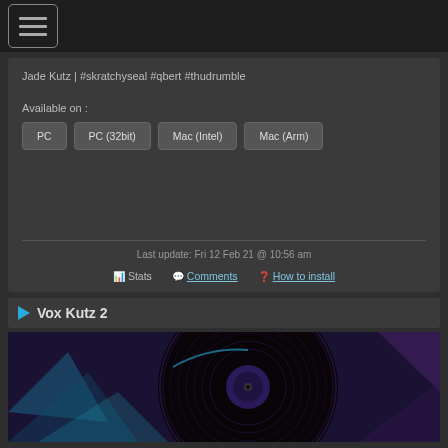[Figure (screenshot): Hamburger menu icon button in top navigation bar]
Jade Kutz | #skratchyseal #qbert #thudrumble
Available on :
PC
PC (32bit)
Mac (Intel)
Mac (Arm)
Last update: Fri 12 Feb 21 @ 10:56 am
Stats  Comments  How to install
Vox Kutz 2
[Figure (photo): Vinyl record on abstract colorful background with purple/teal tones]